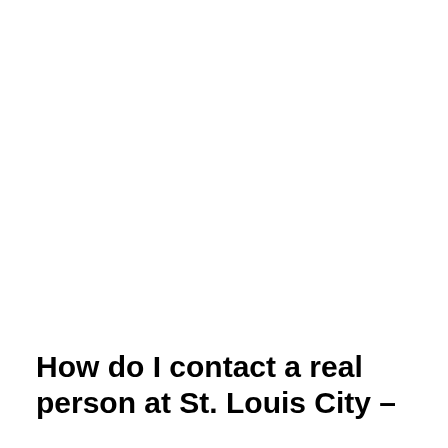How do I contact a real person at St. Louis City –